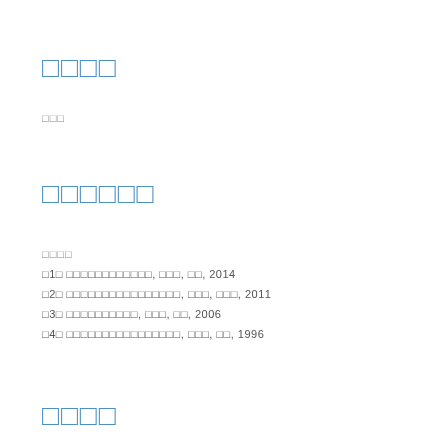□□□□
□□□
□□□□□□
□□□□
□1□ □□□□□□□□□□□□, □□□, □□, 2014
□2□ □□□□□□□□□□□□□□□□, □□□, □□□, 2011
□3□ □□□□□□□□□□, □□□, □□, 2006
□4□ □□□□□□□□□□□□□□□□, □□□, □□, 1996
□□□□